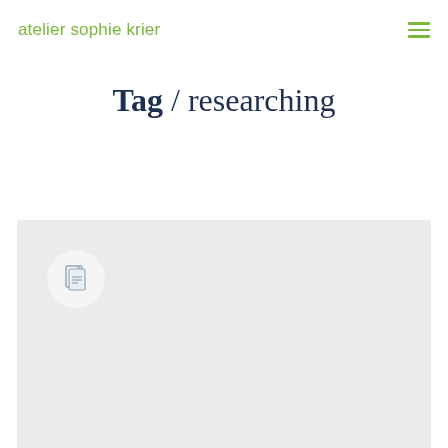atelier sophie krier
Tag / researching
[Figure (other): Light gray card area with a white circular icon button containing a document/file icon in the upper left corner]